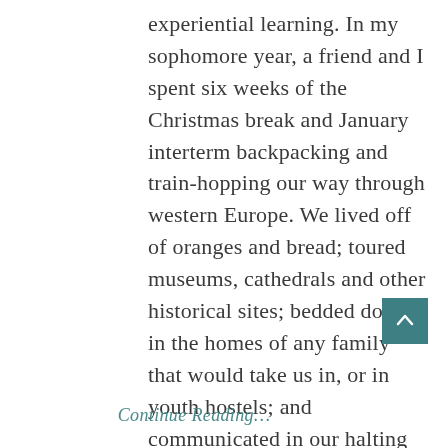experiential learning. In my sophomore year, a friend and I spent six weeks of the Christmas break and January interterm backpacking and train-hopping our way through western Europe. We lived off of oranges and bread; toured museums, cathedrals and other historical sites; bedded down in the homes of any family that would take us in, or in youth hostels; and communicated in our halting French and German, smiling and gesturing profusely when we traversed Italy and Spain.
Continue Reading…